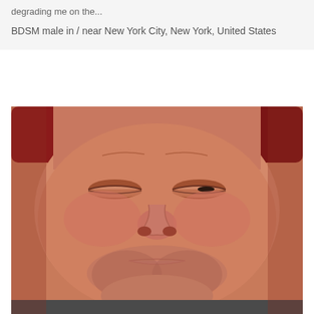degrading me on the...
BDSM male in / near New York City, New York, United States
[Figure (photo): Close-up photo of a man's face with eyes closed or nearly closed, with stubble beard, reddish skin tone, wearing what appears to be a red hat or hood in the background.]